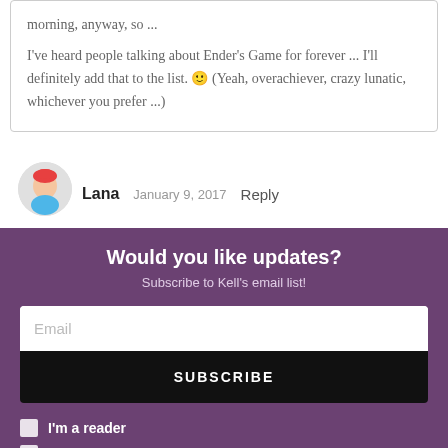morning, anyway, so ...
I've heard people talking about Ender's Game for forever ... I'll definitely add that to the list. 🙂 (Yeah, overachiever, crazy lunatic, whichever you prefer ...)
Lana   January 9, 2017   Reply
Would you like updates?
Subscribe to Kell's email list!
Email
SUBSCRIBE
I'm a reader
I'm a writer
No thanks, I'm not interested